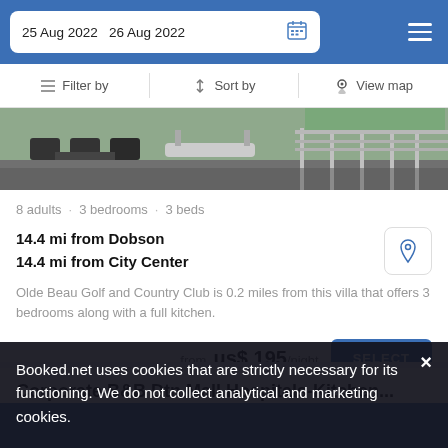25 Aug 2022  26 Aug 2022
Filter by  Sort by  View map
[Figure (photo): Outdoor deck/patio with chairs, bench, and railing surrounded by trees]
8 adults · 3 bedrooms · 3 beds
14.4 mi from Dobson
14.4 mi from City Center
Olde Beau Golf and Country Club is 0.2 miles from this villa that offers 3 bedrooms along with a full kitchen.
from  us$ 195/night
SELECT
Corporate B&B Dtn Mall Hospitals-Kitchen...
Booked.net uses cookies that are strictly necessary for its functioning. We do not collect analytical and marketing cookies.